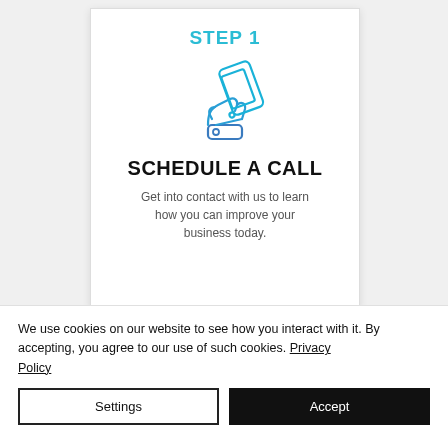Powerhouse
STEP 1
[Figure (illustration): Icon of a hand holding a smartphone, drawn in blue outline style]
SCHEDULE A CALL
Get into contact with us to learn how you can improve your business today.
We use cookies on our website to see how you interact with it. By accepting, you agree to our use of such cookies. Privacy Policy
Settings
Accept